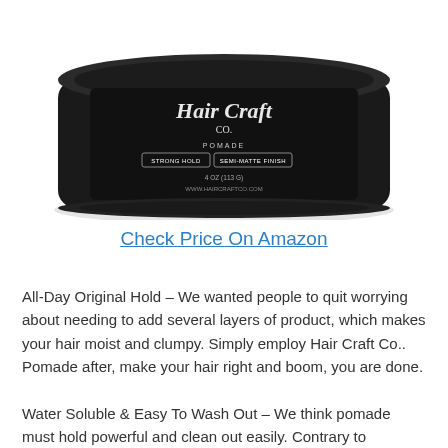[Figure (photo): A dark/black jar of Hair Craft Co. Pomade product with label showing Strong Hold and Semi-Matte Finish, 4 oz (113g), www.haircraftco.com]
Check Price On Amazon
All-Day Original Hold – We wanted people to quit worrying about needing to add several layers of product, which makes your hair moist and clumpy. Simply employ Hair Craft Co.. Pomade after, make your hair right and boom, you are done.
Water Soluble & Easy To Wash Out – We think pomade must hold powerful and clean out easily. Contrary to